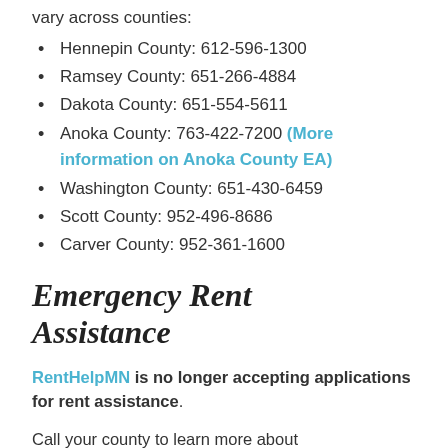vary across counties:
Hennepin County: 612-596-1300
Ramsey County: 651-266-4884
Dakota County: 651-554-5611
Anoka County: 763-422-7200 (More information on Anoka County EA)
Washington County: 651-430-6459
Scott County: 952-496-8686
Carver County: 952-361-1600
Emergency Rent Assistance
RentHelpMN is no longer accepting applications for rent assistance.
Call your county to learn more about